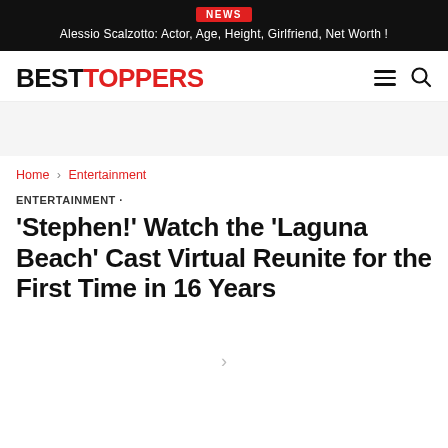NEWS
Alessio Scalzotto: Actor, Age, Height, Girlfriend, Net Worth !
[Figure (logo): BESTTOPPERS logo with BEST in black and TOPPERS in red, bold sans-serif font]
Home › Entertainment
ENTERTAINMENT
'Stephen!' Watch the 'Laguna Beach' Cast Virtual Reunite for the First Time in 16 Years